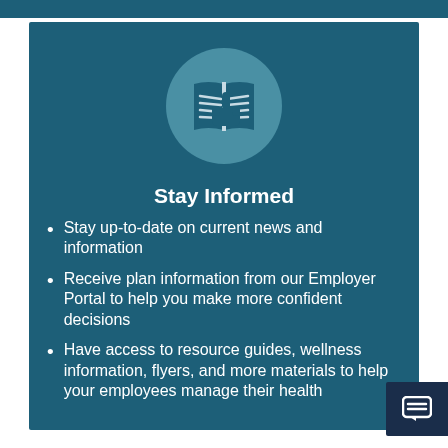[Figure (illustration): Open book with a pointing hand cursor icon inside a light blue circle on a dark teal background]
Stay Informed
Stay up-to-date on current news and information
Receive plan information from our Employer Portal to help you make more confident decisions
Have access to resource guides, wellness information, flyers, and more materials to help your employees manage their health